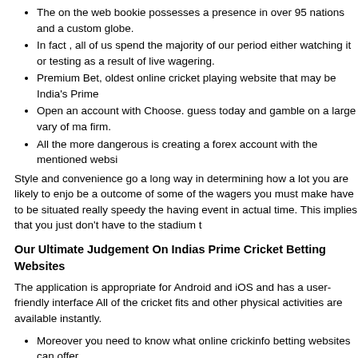The on the web bookie possesses a presence in over 95 nations and a custom globe.
In fact , all of us spend the majority of our period either watching it or testing as a result of live wagering.
Premium Bet, oldest online cricket playing website that may be India's Prime
Open an account with Choose. guess today and gamble on a large vary of ma firm.
All the more dangerous is creating a forex account with the mentioned websi
Style and convenience go a long way in determining how a lot you are likely to enjo be a outcome of some of the wagers you must make have to be situated really speedy the having event in actual time. This implies that you just don't have to the stadium t
Our Ultimate Judgement On Indias Prime Cricket Betting Websites
The application is appropriate for Android and iOS and has a user-friendly interface All of the cricket fits and other physical activities are available instantly.
Moreover you need to know what online crickinfo betting websites can offer
Or newcomers, it might be extraordinarily challenging to select and play at o
The first thing you must do, can be select a most respected cricket wagering
Stay away from this kind of a web site and verify the hand somewhere else.
So , a sportsbook with generous odds might be paid with top markings. We'll even b choices or statistics upon sporting events. If you wish betting on soccer, right here at websites have substantial odds mainly because outlined within; have practical fee me
Many bookmakers present cellular programs, apart from a great cell wagering websi cricket occasions as nicely as groups over the globe.
So every time they're in search of trustworthy websites.